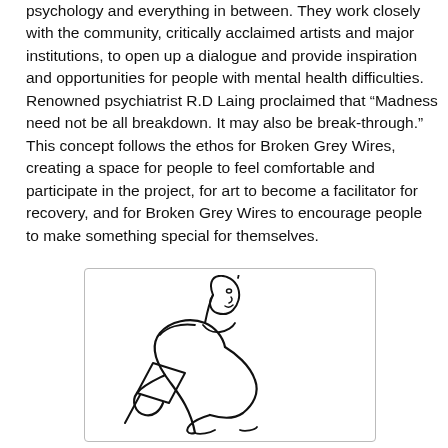psychology and everything in between. They work closely with the community, critically acclaimed artists and major institutions, to open up a dialogue and provide inspiration and opportunities for people with mental health difficulties. Renowned psychiatrist R.D Laing proclaimed that “Madness need not be all breakdown. It may also be break-through.” This concept follows the ethos for Broken Grey Wires, creating a space for people to feel comfortable and participate in the project, for art to become a facilitator for recovery, and for Broken Grey Wires to encourage people to make something special for themselves.
[Figure (illustration): A line drawing illustration of a person reading or holding a document, shown from the waist up, in a sketchy black-and-white style.]